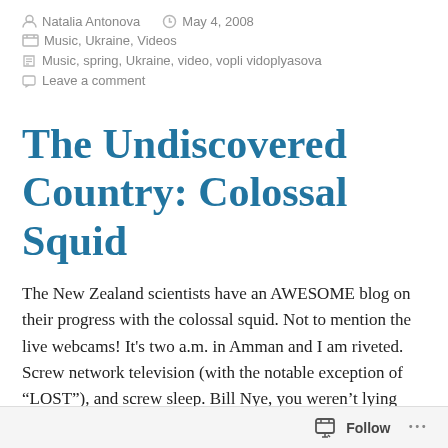Natalia Antonova   May 4, 2008   Music, Ukraine, Videos
Music, spring, Ukraine, video, vopli vidoplyasova
Leave a comment
The Undiscovered Country: Colossal Squid
The New Zealand scientists have an AWESOME blog on their progress with the colossal squid. Not to mention the live webcams! It's two a.m. in Amman and I am riveted. Screw network television (with the notable exception of “LOST”), and screw sleep. Bill Nye, you weren’t lying when you told my 7th
Follow   ...